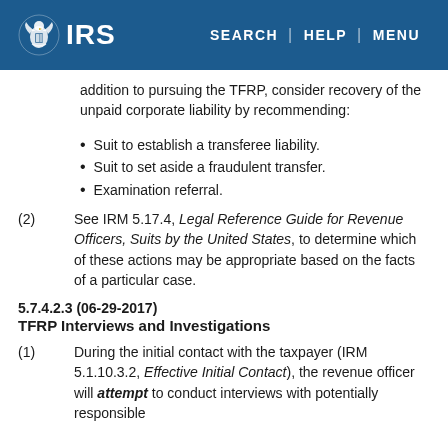IRS | SEARCH | HELP | MENU
addition to pursuing the TFRP, consider recovery of the unpaid corporate liability by recommending:
Suit to establish a transferee liability.
Suit to set aside a fraudulent transfer.
Examination referral.
(2) See IRM 5.17.4, Legal Reference Guide for Revenue Officers, Suits by the United States, to determine which of these actions may be appropriate based on the facts of a particular case.
5.7.4.2.3 (06-29-2017)
TFRP Interviews and Investigations
(1) During the initial contact with the taxpayer (IRM 5.1.10.3.2, Effective Initial Contact), the revenue officer will attempt to conduct interviews with potentially responsible